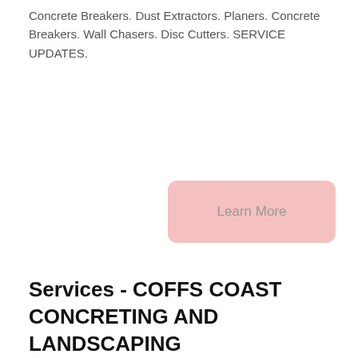Concrete Breakers. Dust Extractors. Planers. Concrete Breakers. Wall Chasers. Disc Cutters. SERVICE UPDATES.
[Figure (other): Pink rounded rectangle button with text 'Learn More']
Services - COFFS COAST CONCRETING AND LANDSCAPING
[Figure (photo): Photo of an industrial concrete batching plant with tall white and blue cylindrical silos, a central white building structure, and a blue conveyor belt, against a blue sky.]